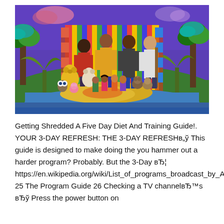[Figure (photo): Group photo of four adults standing behind a large collection of puppets and stuffed animals on a colorful stage set with tropical/jungle themed decorations including painted trees, colorful striped fabric backdrop, and a blue mat on the ground.]
Getting Shredded A Five Day Diet And Training Guide!. YOUR 3-DAY REFRESH: THE 3-DAY REFRESHв„ў This guide is designed to make doing the you hammer out a harder program? Probably. But the 3-Day вЂ¦ https://en.wikipedia.org/wiki/List_of_programs_broadcast_by_American_Broadcasting_Company 25 The Program Guide 26 Checking a TV channelвЂ™s вЂў Press the power button on